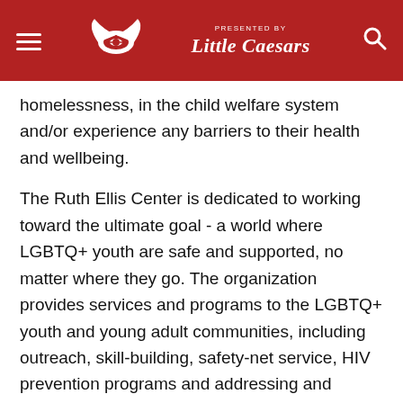Detroit Red Wings – Presented by Little Caesars
homelessness, in the child welfare system and/or experience any barriers to their health and wellbeing.
The Ruth Ellis Center is dedicated to working toward the ultimate goal - a world where LGBTQ+ youth are safe and supported, no matter where they go. The organization provides services and programs to the LGBTQ+ youth and young adult communities, including outreach, skill-building, safety-net service, HIV prevention programs and addressing and helping LGBTQ+ youth of color through their dedication to embedding racial equity and transformative justice into all of their work.